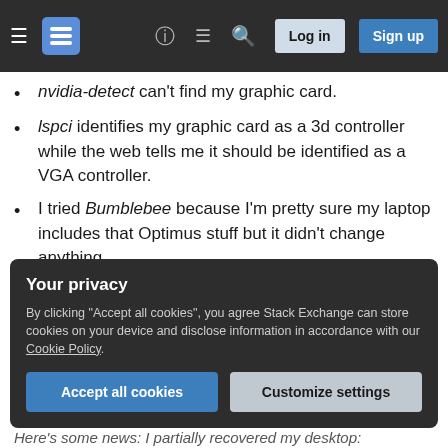Stack Exchange navigation bar with hamburger menu, logo, help, chat, search, Log in, Sign up
nvidia-detect can't find my graphic card.
lspci identifies my graphic card as a 3d controller while the web tells me it should be identified as a VGA controller.
I tried Bumblebee because I'm pretty sure my laptop includes that Optimus stuff but it didn't change anything.
How to make my laptop to recognize my GPU? Is it a matter of etc config files or something? I would like to stick with Nouveau driver. However if there is
Your privacy
By clicking "Accept all cookies", you agree Stack Exchange can store cookies on your device and disclose information in accordance with our Cookie Policy.
Accept all cookies   Customize settings
Here's some news: I partially recovered my desktop: